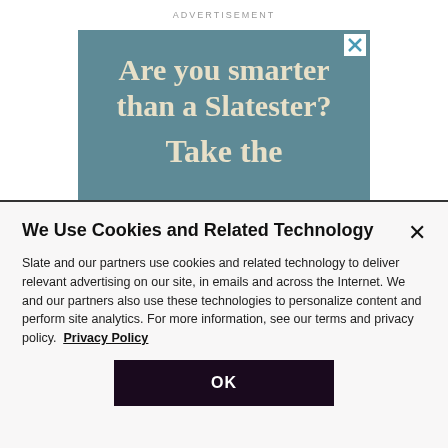ADVERTISEMENT
[Figure (screenshot): Advertisement banner with teal/blue-grey background showing text: 'Are you smarter than a Slatester? Take the' in cream/beige serif font, with a close (X) button in the top-right corner]
We Use Cookies and Related Technology
Slate and our partners use cookies and related technology to deliver relevant advertising on our site, in emails and across the Internet. We and our partners also use these technologies to personalize content and perform site analytics. For more information, see our terms and privacy policy.  Privacy Policy
OK